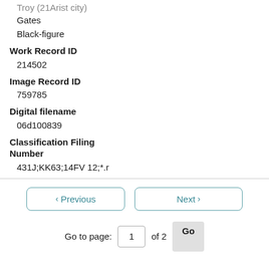Troy (21Arist city)
Gates
Black-figure
Work Record ID
214502
Image Record ID
759785
Digital filename
06d100839
Classification Filing Number
431J;KK63;14FV 12;*.r
< Previous   Next >
Go to page: 1 of 2 Go